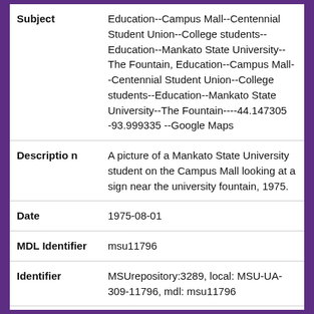| Field | Value |
| --- | --- |
| Subject | Education--Campus Mall--Centennial Student Union--College students--Education--Mankato State University--The Fountain, Education--Campus Mall--Centennial Student Union--College students--Education--Mankato State University--The Fountain----44.147305 -93.999335 --Google Maps |
| Description | A picture of a Mankato State University student on the Campus Mall looking at a sign near the university fountain, 1975. |
| Date | 1975-08-01 |
| MDL Identifier | msu11796 |
| Identifier | MSUrepository:3289, local: MSU-UA-309-11796, mdl: msu11796 |